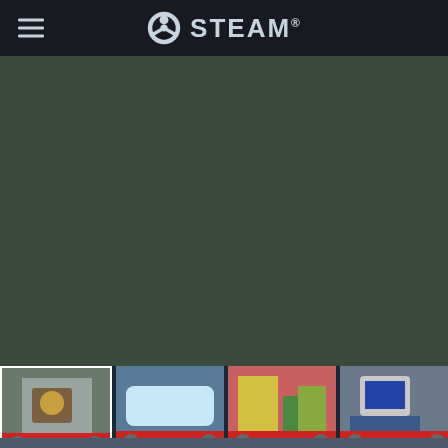STEAM
[Figure (screenshot): Steam store page showing a video game screenshot with cartoon-style top-down game view featuring characters, buildings, and a red toolbar UI at bottom with character names KELVIN, IGE, GRINCHELLA]
[Figure (screenshot): Thumbnail strip with 4 game screenshots: first selected (stone building), second (pool area), third (colorful scene), fourth (TV robot character)]
Sign in to add this item to your wishlist, follow it, or mark it as ignored